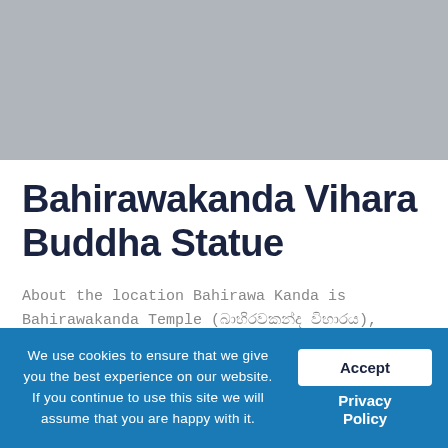[Figure (photo): Photograph placeholder — grey image area at top of page]
Bahirawakanda Vihara Buddha Statue
About the location Bahirawa Kanda is Bahirawakanda Temple (බාහිරවකන්ද විහාරය), Bahirawakanda Rd, Kandy, Sri Lanka        0812 225 061
Temples
We use cookies to ensure that we give you the best experience on our website. If you continue to use this site we will assume that you are happy with it.
Accept
Privacy Policy